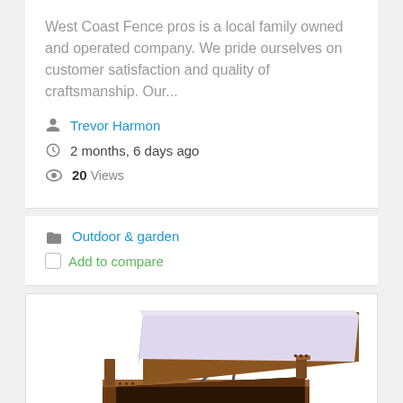West Coast Fence pros is a local family owned and operated company. We pride ourselves on customer satisfaction and quality of craftsmanship. Our...
Trevor Harmon
2 months, 6 days ago
20 Views
Outdoor & garden
Add to compare
[Figure (photo): A wooden storage bed frame with hydraulic lift mechanism, mattress lifted up showing storage space inside, shown at an angle. Number 2 in bottom right.]